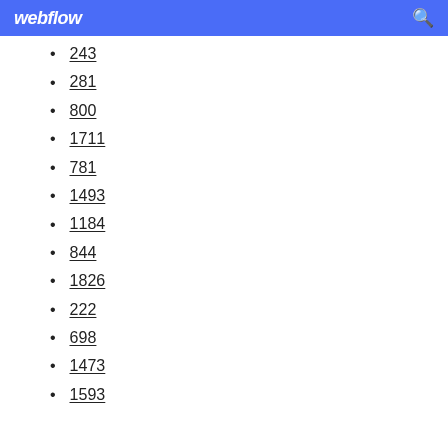webflow
243
281
800
1711
781
1493
1184
844
1826
222
698
1473
1593